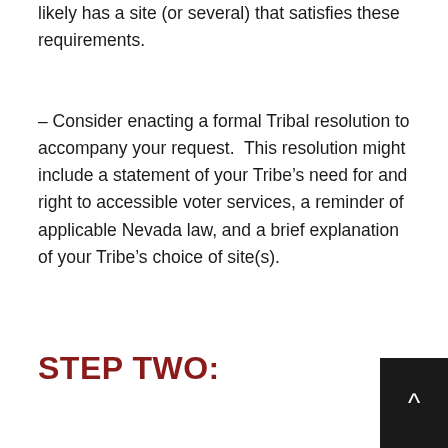likely has a site (or several) that satisfies these requirements.
– Consider enacting a formal Tribal resolution to accompany your request. This resolution might include a statement of your Tribe's need for and right to accessible voter services, a reminder of applicable Nevada law, and a brief explanation of your Tribe's choice of site(s).
STEP TWO: